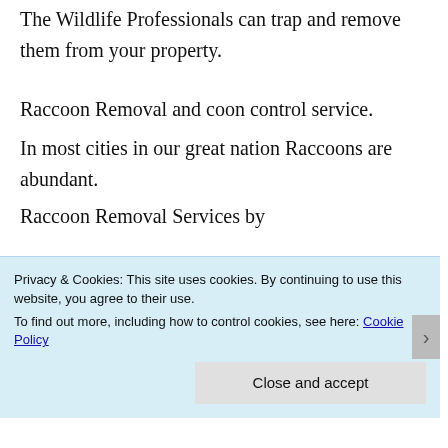The Wildlife Professionals can trap and remove them from your property.
Raccoon Removal and coon control service.
In most cities in our great nation Raccoons are abundant.
Raccoon Removal Services by
Privacy & Cookies: This site uses cookies. By continuing to use this website, you agree to their use.
To find out more, including how to control cookies, see here: Cookie Policy